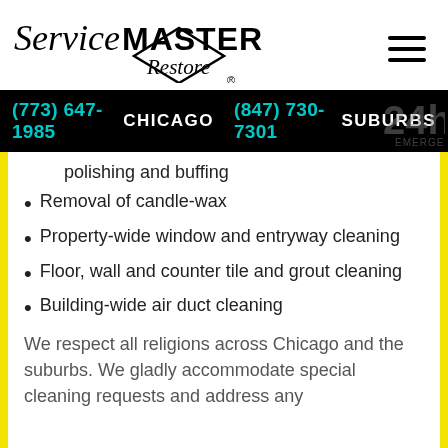[Figure (logo): ServiceMASTER Restore logo with triangle graphic]
(773) 647-1985 CHICAGO   (847) 730-7301 SUBURBS
polishing and buffing
Removal of candle-wax
Property-wide window and entryway cleaning
Floor, wall and counter tile and grout cleaning
Building-wide air duct cleaning
We respect all religions across Chicago and the suburbs. We gladly accommodate special cleaning requests and address any